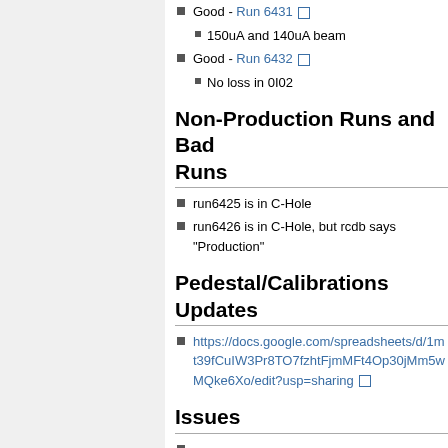Good - Run 6431 [ext link]
150uA and 140uA beam
Good - Run 6432 [ext link]
No loss in 0I02
Non-Production Runs and Bad Runs
run6425 is in C-Hole
run6426 is in C-Hole, but rcdb says "Production"
Pedestal/Calibrations Updates
https://docs.google.com/spreadsheets/d/1mt39fCuIW3Pr8TO7fzhtFjmMFt4Op30jMm5wMQke6Xo/edit?usp=sharing [ext link]
Issues
Updates